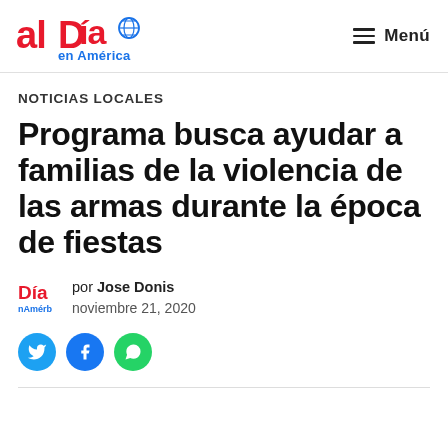alDía en América — Menú
NOTICIAS LOCALES
Programa busca ayudar a familias de la violencia de las armas durante la época de fiestas
por Jose Donis
noviembre 21, 2020
[Figure (other): Social share buttons: Twitter, Facebook, WhatsApp]